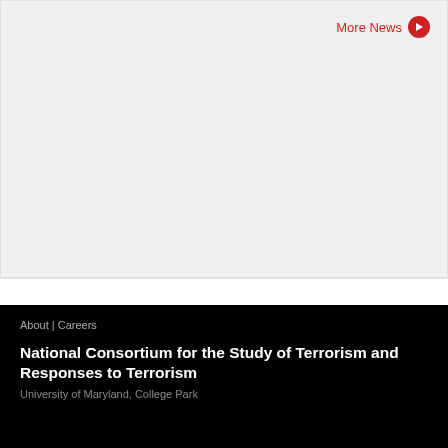[Figure (screenshot): Light gray background section at top of page]
More News →
Connect
[Figure (infographic): Five circular social media icons: Twitter, Facebook, LinkedIn, RSS, Email]
About | Careers
National Consortium for the Study of Terrorism and Responses to Terrorism
University of Maryland, College Park